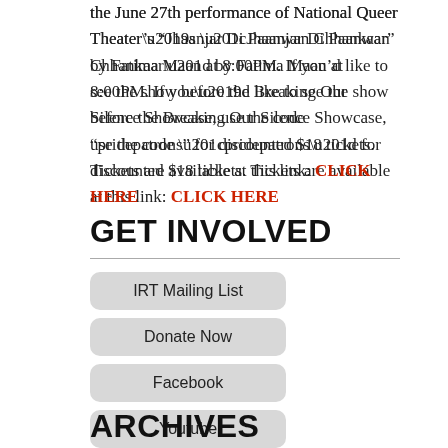the June 27th performance of National Queer Theater’s “Jhaanjar Di Paanwan Chhankaar” by Fatima Maan at 8:00PM. If you’d like to see the show before the Breaking Our Silence Showcase, use the code “pridepatrons” for discounted $18 tickets. Tickets are available at this link: CLICK HERE
GET INVOLVED
IRT Mailing List
Donate Now
Facebook
Youtube
ARCHIVES